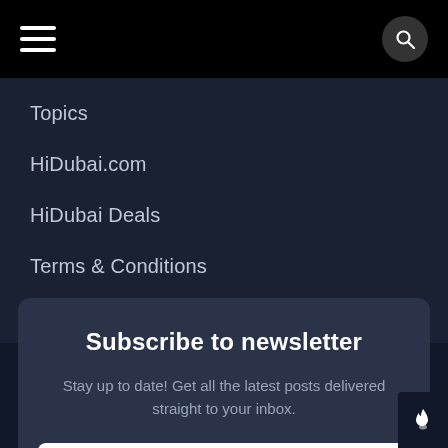Menu navigation bar with hamburger icon and search icon
Topics
HiDubai.com
HiDubai Deals
Terms & Conditions
Privacy Policy
Subscribe to newsletter
Stay up to date! Get all the latest posts delivered straight to your inbox.
Your email address